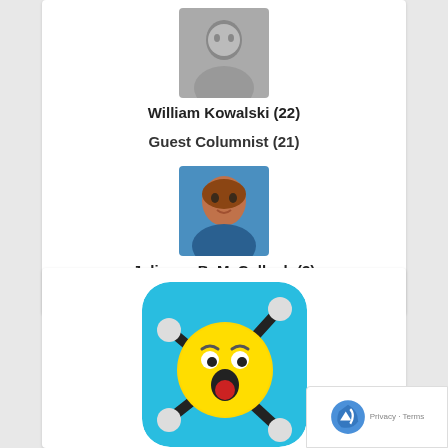[Figure (photo): Black and white headshot photo of William Kowalski]
William Kowalski (22)
Guest Columnist (21)
[Figure (photo): Color photo of Julianne B. McCullagh, a woman with reddish hair]
Julianne B. McCullagh (3)
[Figure (illustration): App icon for Stretch Guy: a blue rounded square icon featuring a yellow emoji face with shocked expression and stick figure limbs]
Stretch Guy